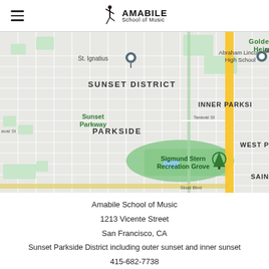Amabile School of Music (logo and navigation)
[Figure (map): Google Maps screenshot showing the Sunset District, Parkside, Inner Parkside, and surrounding neighborhoods of San Francisco, CA. Landmarks include St. Ignatius, Abraham Lincoln High School, Sunset Parkway, Sigmund Stern Recreation Grove, and street labels including Taraval St and Sloat Blvd. A major yellow road runs vertically on the right side of the map.]
Amabile School of Music
1213 Vicente Street
San Francisco, CA
Sunset Parkside District including outer sunset and inner sunset
415-682-7738
In-person and online lessons available 7 days a week